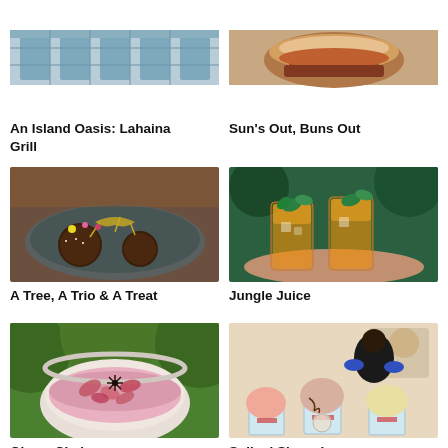[Figure (photo): Top partial view of Lahaina Grill restaurant interior with blue chairs]
An Island Oasis: Lahaina Grill
[Figure (photo): Close-up of a burger with melted cheese and toppings]
Sun's Out, Buns Out
[Figure (photo): Elegant dessert plate with chocolate balls decorated with gold and flowers]
A Tree, A Trio & A Treat
[Figure (photo): Two tall glasses of orange tropical drink garnished with mint leaves]
Jungle Juice
[Figure (photo): Pink floral chai drink in a white bowl with rose petals and star anise]
Qisa + Chai
[Figure (photo): Three shave ice desserts with colorful toppings held in red cups]
Spiked Shave Ice